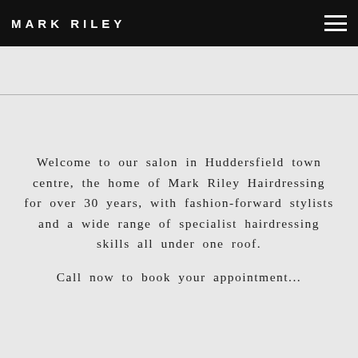MARK RILEY
Welcome to our salon in Huddersfield town centre, the home of Mark Riley Hairdressing for over 30 years, with fashion-forward stylists and a wide range of specialist hairdressing skills all under one roof.
Call now to book your appointment...